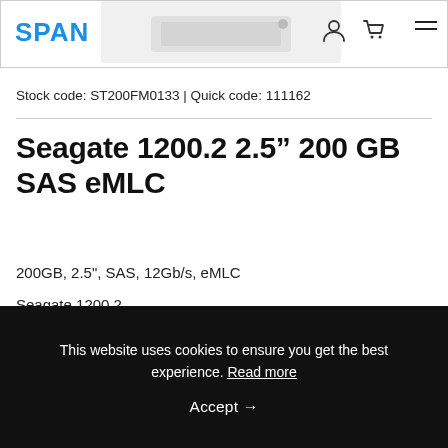SPAN
Stock code: ST200FM0133 | Quick code: 111162
Seagate 1200.2 2.5” 200 GB SAS eMLC
200GB, 2.5", SAS, 12Gb/s, eMLC
Seagate 1200.2
This website uses cookies to ensure you get the best experience. Read more
Accept →